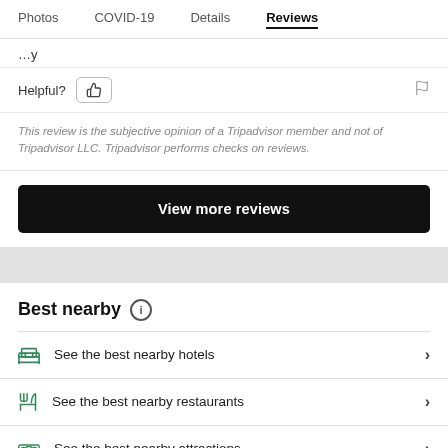Photos | COVID-19 | Details | Reviews
Helpful?
This review is the subjective opinion of a Tripadvisor member and not of Tripadvisor LLC. Tripadvisor performs checks on reviews.
View more reviews
Best nearby
See the best nearby hotels
See the best nearby restaurants
See the best nearby attractions